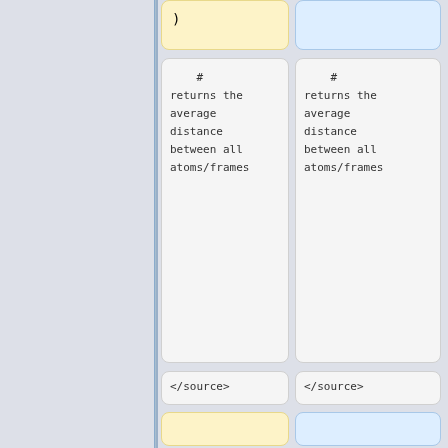)
#
returns the
average
distance
between all
atoms/frames
#
returns the
average
distance
between all
atoms/frames
</source>
</source>
===NOTES===
===EXAMPLES===
The distance wizard makes measuring distances easier than using the "dist"
* Get and show the distance from residue 10's alpha carbon to residue 40's